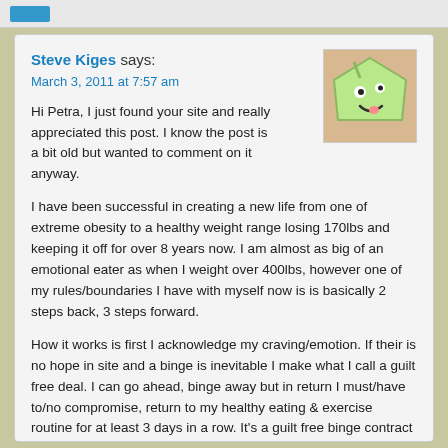Steve Kiges says:
March 3, 2011 at 7:57 am
Hi Petra, I just found your site and really appreciated this post. I know the post is a bit old but wanted to comment on it anyway.
I have been successful in creating a new life from one of extreme obesity to a healthy weight range losing 170lbs and keeping it off for over 8 years now. I am almost as big of an emotional eater as when I weight over 400lbs, however one of my rules/boundaries I have with myself now is is basically 2 steps back, 3 steps forward.
How it works is first I acknowledge my craving/emotion. If their is no hope in site and a binge is inevitable I make what I call a guilt free deal. I can go ahead, binge away but in return I must/have to/no compromise, return to my healthy eating & exercise routine for at least 3 days in a row. It's a guilt free binge contract that I cannot break, no matter what.
You see I got tired of the lies and the guilt. To me they just fed the emotional furnace that feeds the binges in the first place.
Hope that gives people some other ideas...